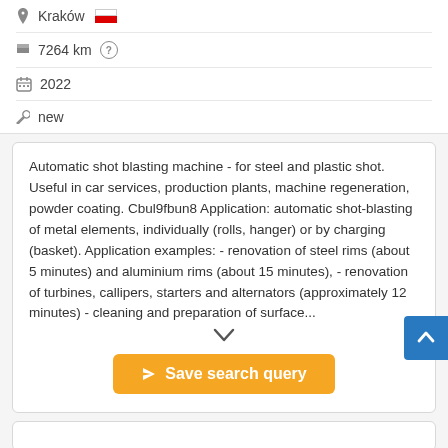Kraków
7264 km
2022
new
Automatic shot blasting machine - for steel and plastic shot. Useful in car services, production plants, machine regeneration, powder coating. Cbul9fbun8 Application: automatic shot-blasting of metal elements, individually (rolls, hanger) or by charging (basket). Application examples: - renovation of steel rims (about 5 minutes) and aluminium rims (about 15 minutes), - renovation of turbines, callipers, starters and alternators (approximately 12 minutes) - cleaning and preparation of surface...
Save search query